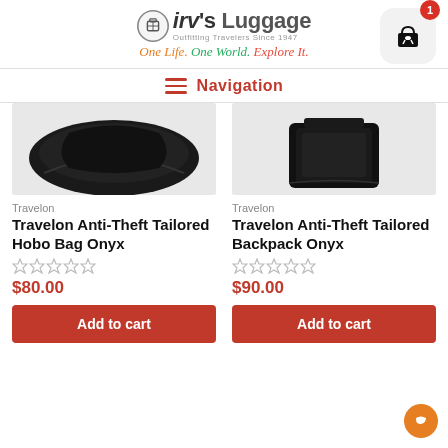[Figure (logo): Irv's Luggage logo with suitcase icon, tagline 'Outfitting Travelers Since 1947', and cursive 'One Life. One World. Explore It.']
[Figure (other): Shopping cart icon button with red badge showing '1']
Navigation
[Figure (photo): Travelon Anti-Theft Tailored Hobo Bag Onyx - black bag product image]
Travelon
Travelon Anti-Theft Tailored Hobo Bag Onyx
$80.00
Add to cart
[Figure (photo): Travelon Anti-Theft Tailored Backpack Onyx - black backpack product image]
Travelon
Travelon Anti-Theft Tailored Backpack Onyx
$90.00
Add to cart